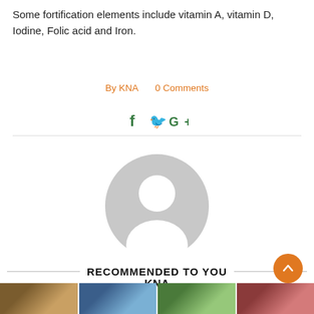Some fortification elements include vitamin A, vitamin D, Iodine, Folic acid and Iron.
By KNA   0 Comments
[Figure (infographic): Social media share icons: Facebook (f), Twitter (bird), Google+]
[Figure (photo): Circular grey default user avatar silhouette]
KNA
RECOMMENDED TO YOU
[Figure (photo): Bottom strip of four thumbnail images]